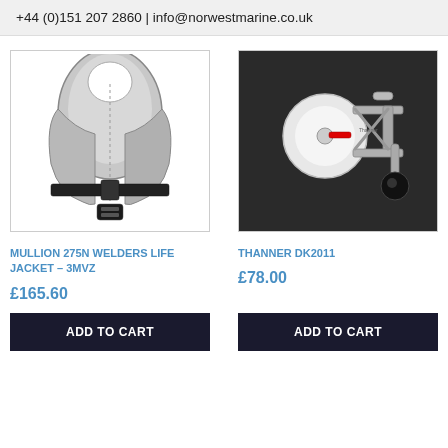+44 (0)151 207 2860 | info@norwestmarine.co.uk
[Figure (photo): Silver/metallic inflatable life jacket with black straps and buckle - Mullion 275N Welders Life Jacket 3MVZ]
MULLION 275N WELDERS LIFE JACKET – 3MVZ
£165.60
ADD TO CART
[Figure (photo): Mechanical fishing reel or marine device (Thanner DK2011) with white spool, metal frame, and black knob on dark background]
THANNER DK2011
£78.00
ADD TO CART